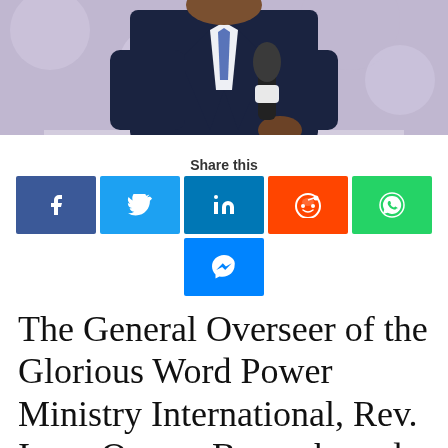[Figure (photo): A man in a dark navy suit holding a microphone with a purple/blurred background, cropped at top showing torso and hands.]
Share this
[Figure (infographic): Social media share buttons: Facebook (blue), Twitter (light blue), LinkedIn (dark blue), Reddit (orange), WhatsApp (green), Messenger (blue)]
The General Overseer of the Glorious Word Power Ministry International, Rev. Isaac Owusu Bempah, and four of his church members